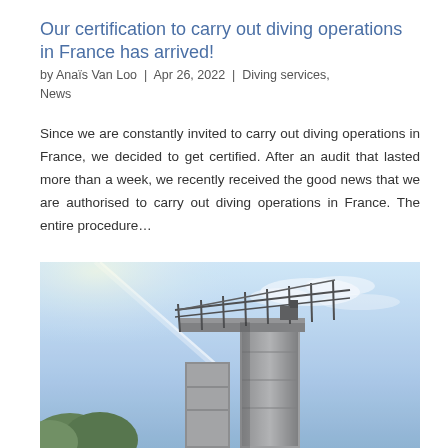Our certification to carry out diving operations in France has arrived!
by Anaïs Van Loo  |  Apr 26, 2022  |  Diving services, News
Since we are constantly invited to carry out diving operations in France, we decided to get certified. After an audit that lasted more than a week, we recently received the good news that we are authorised to carry out diving operations in France. The entire procedure…
[Figure (photo): A concrete industrial structure (likely a lock or dam) with metal railings photographed from below against a blue sky with light clouds and a contrail.]